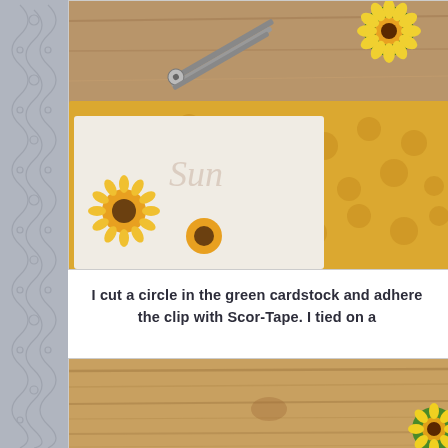[Figure (photo): Close-up photo of decorative paper with sunflower pattern and polka dot design in yellow/gold tones, with scissors visible, on a wooden surface. A sunflower embellishment is visible at the top right.]
I cut a circle in the green cardstock and adhere the clip with Scor-Tape. I tied on a
[Figure (photo): Photo showing a wooden surface with a green sunflower or paper embellishment visible at the bottom right corner.]